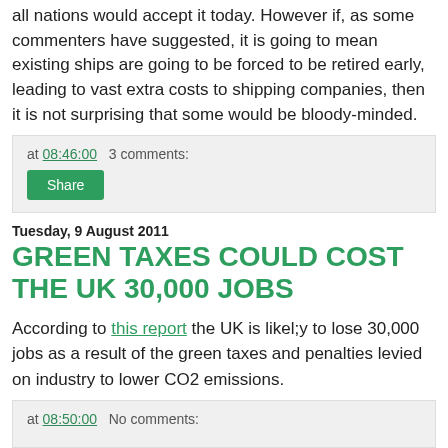all nations would accept it today. However if, as some commenters have suggested, it is going to mean existing ships are going to be forced to be retired early, leading to vast extra costs to shipping companies, then it is not surprising that some would be bloody-minded.
at 08:46:00   3 comments:
Share
Tuesday, 9 August 2011
GREEN TAXES COULD COST THE UK 30,000 JOBS
According to this report the UK is likel;y to lose 30,000 jobs as a result of the green taxes and penalties levied on industry to lower CO2 emissions.
at 08:50:00   No comments: